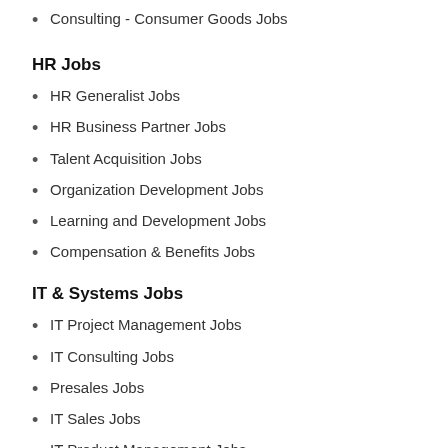Consulting - Consumer Goods Jobs
HR Jobs
HR Generalist Jobs
HR Business Partner Jobs
Talent Acquisition Jobs
Organization Development Jobs
Learning and Development Jobs
Compensation & Benefits Jobs
IT & Systems Jobs
IT Project Management Jobs
IT Consulting Jobs
Presales Jobs
IT Sales Jobs
IT Product Management Jobs
IT Business Analyst Jobs
Operations Jobs